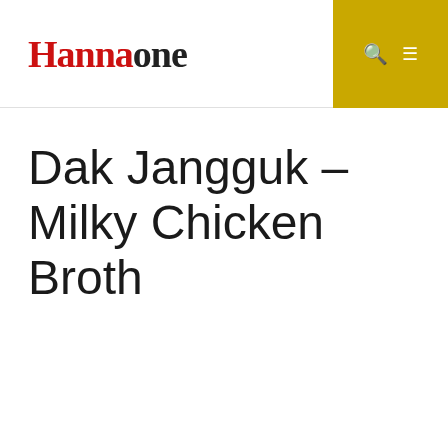Hannaone
Dak Jangguk – Milky Chicken Broth